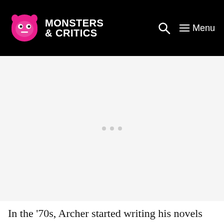MONSTERS & CRITICS
[Figure (other): Advertisement placeholder area with three grey dots centered on a light grey background]
In the ‘70s, Archer started writing his novels and by 1992, he was made a “life peer,” which made him a very high-level aristocrat. That was not